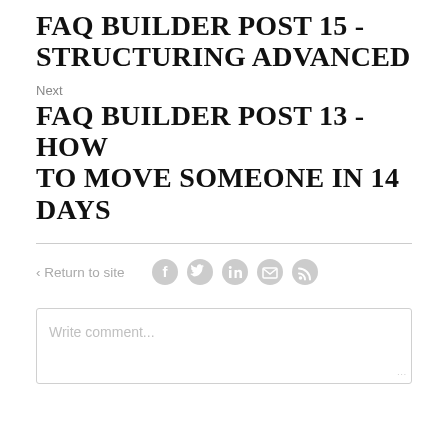FAQ BUILDER POST 15 - STRUCTURING ADVANCED
Next
FAQ BUILDER POST 13 - HOW TO MOVE SOMEONE IN 14 DAYS
< Return to site
[Figure (other): Social media share icons: Facebook, Twitter, LinkedIn, Email, RSS feed - rendered as grey circular icons]
Write comment...